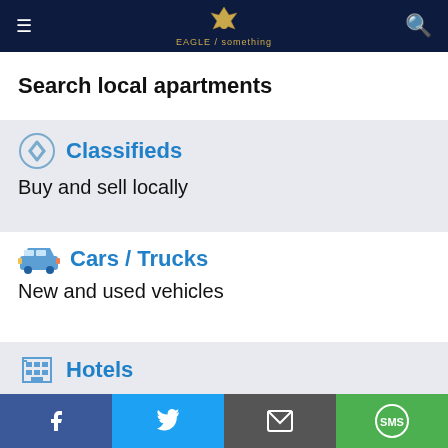Eagle / Navigation bar with hamburger menu, eagle logo, search icon
Search local apartments
Classifieds
Buy and sell locally
Cars / Trucks
New and used vehicles
Hotels
[Figure (photo): Ad banner showing a gloved hand holding a red anatomical model. Text: Red Flag Signs of Prostate Cancer Most Men Aren't Aware Of. Source: Prostate | Search Ads | Sponsored]
Facebook | Twitter | Email | SMS sharing buttons